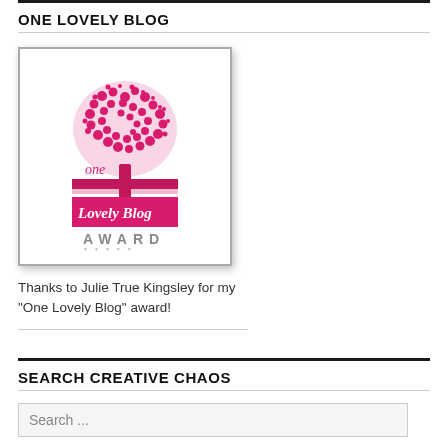ONE LOVELY BLOG
[Figure (illustration): One Lovely Blog Award image: a pink tree with heart-shaped leaves above the ground, the word 'one' in pink, a pink banner with cursive 'Lovely Blog', and 'AWARD' in gray capitals below, all on a white square with gray border and shadow.]
Thanks to Julie True Kingsley for my "One Lovely Blog" award!
SEARCH CREATIVE CHAOS
Search ...